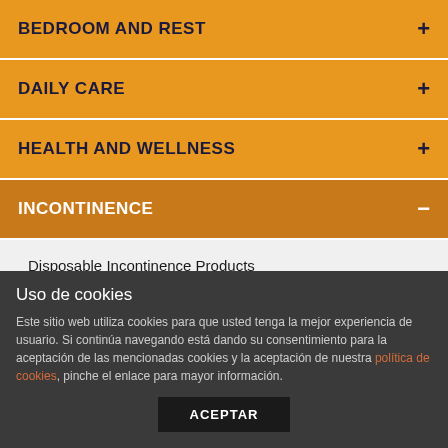BEDROOM AND REST
DAILY CARE
HEALTH AND WELLNESS
INCONTINENCE
Disposable Incontinence Products
Incontinence Treatment Products: Women And Men
Reusable Bed And Chair Pads
Uso de cookies
Este sitio web utiliza cookies para que usted tenga la mejor experiencia de usuario. Si continúa navegando está dando su consentimiento para la aceptación de las mencionadas cookies y la aceptación de nuestra política de cookies, pinche el enlace para mayor información.
ACEPTAR